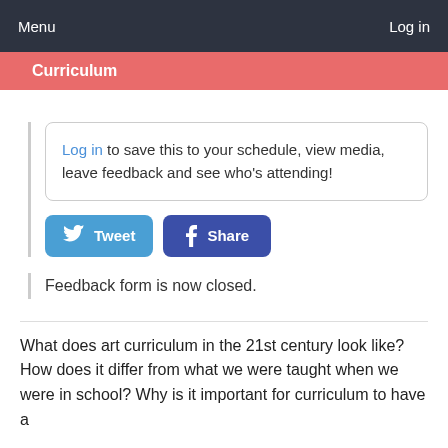Menu    Log in
Curriculum
Log in to save this to your schedule, view media, leave feedback and see who's attending!
Tweet
Share
Feedback form is now closed.
What does art curriculum in the 21st century look like? How does it differ from what we were taught when we were in school? Why is it important for curriculum to have a